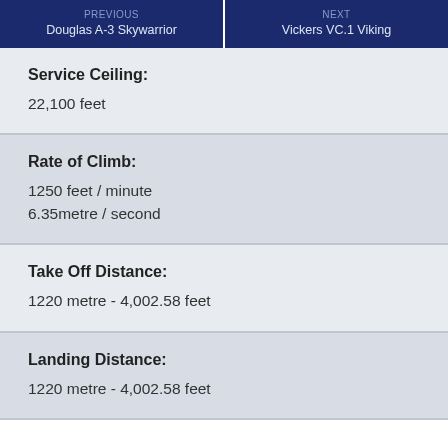PREVIOUS
Douglas A-3 Skywarrior
NEXT
Vickers VC.1 Viking
Service Ceiling:
22,100 feet
Rate of Climb:
1250 feet / minute
6.35metre / second
Take Off Distance:
1220 metre - 4,002.58 feet
Landing Distance:
1220 metre - 4,002.58 feet